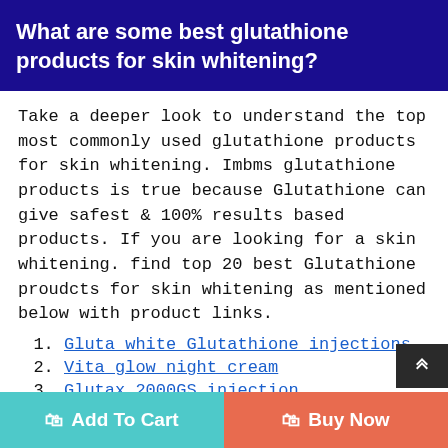What are some best glutathione products for skin whitening?
Take a deeper look to understand the top most commonly used glutathione products for skin whitening. Imbms glutathione products is true because Glutathione can give safest & 100% results based products. If you are looking for a skin whitening. find top 20 best Glutathione proudcts for skin whitening as mentioned below with product links.
Gluta white Glutathione injections
Vita glow night cream
Glutax 2000GS injection
Miracle White Glutathione injection
Aqua skin venscy Injection
Add To Cart   Buy Now